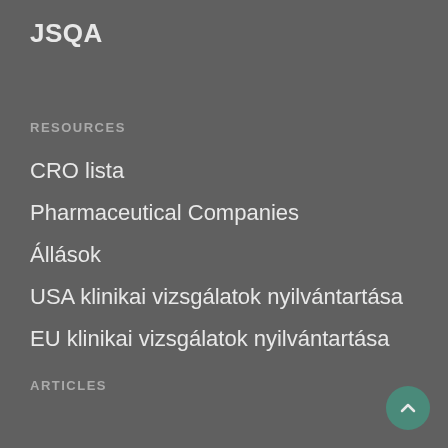JSQA
RESOURCES
CRO lista
Pharmaceutical Companies
Állások
USA klinikai vizsgálatok nyilvántartása
EU klinikai vizsgálatok nyilvántartása
ARTICLES
Publikációk
hírek
About us / Our mission